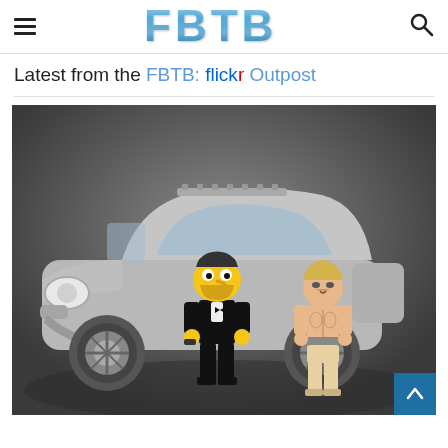FBTB (logo with hamburger menu and search icon)
Latest from the FBTB: flickr Outpost
[Figure (photo): Photo of LEGO minifigures (Homer Simpson in a tuxedo and a muscular figure in underwear) standing in front of a grey LEGO Aston Martin car, on a dark grey background.]